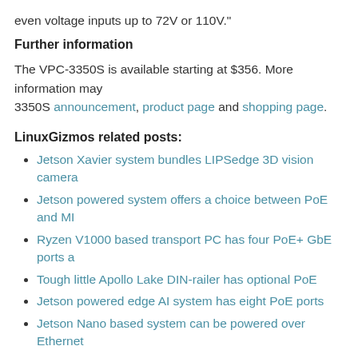even voltage inputs up to 72V or 110V."
Further information
The VPC-3350S is available starting at $356. More information may 3350S announcement, product page and shopping page.
LinuxGizmos related posts:
Jetson Xavier system bundles LIPSedge 3D vision camera
Jetson powered system offers a choice between PoE and MI
Ryzen V1000 based transport PC has four PoE+ GbE ports a
Tough little Apollo Lake DIN-railer has optional PoE
Jetson powered edge AI system has eight PoE ports
Jetson Nano based system can be powered over Ethernet
Coffee Lake in-vehicle system has four PoE ports
Apollo Lake telematics system features Hailo-8 NPU
Edge AI box powers up with Jetson AGX Xavier
Apollo Lake mini-PC supports dual 4K displays